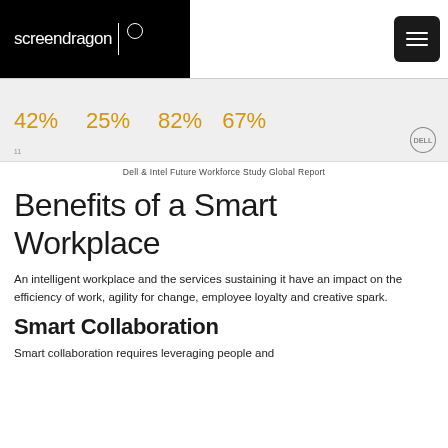screendragon
[Figure (infographic): Stats bar showing 42%, 25%, 82%, 67% in gold/amber color on a light grey background with a Dell logo in the bottom right corner.]
Dell & Intel Future Workforce Study Global Report
Benefits of a Smart Workplace
An intelligent workplace and the services sustaining it have an impact on the efficiency of work, agility for change, employee loyalty and creative spark.
Smart Collaboration
Smart collaboration requires leveraging people and